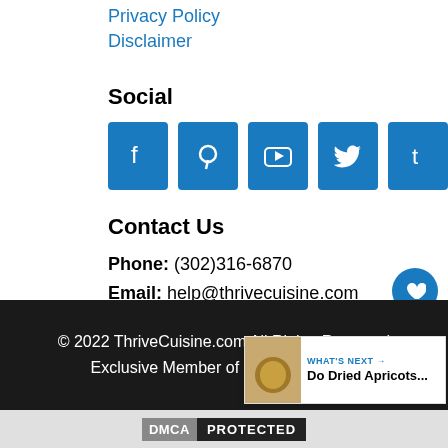Privacy Policy
Disclaimer
Social
[Figure (other): Social media icon buttons: Facebook, Pinterest, YouTube, Twitter, Tumblr — blue square rounded buttons with white icons]
Contact Us
Phone: (302)316-6870
Email: help@thrivecuisine.com
© 2022 ThriveCuisine.com All Rights Reserved
Exclusive Member of Mediavine Food
DMCA PROTECTED